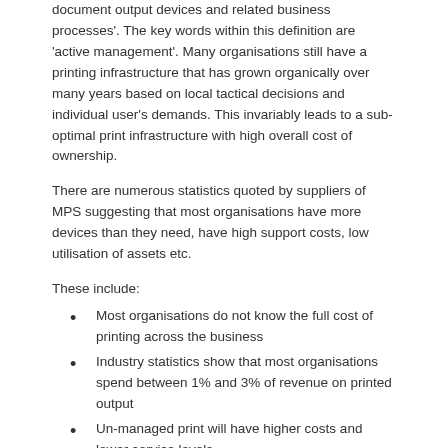document output devices and related business processes'. The key words within this definition are 'active management'. Many organisations still have a printing infrastructure that has grown organically over many years based on local tactical decisions and individual user's demands. This invariably leads to a sub-optimal print infrastructure with high overall cost of ownership.
There are numerous statistics quoted by suppliers of MPS suggesting that most organisations have more devices than they need, have high support costs, low utilisation of assets etc.
These include:
Most organisations do not know the full cost of printing across the business
Industry statistics show that most organisations spend between 1% and 3% of revenue on printed output
Un-managed print will have higher costs and lower service levels
Active management of print will reduce costs by 20% to 40%
A true managed print services (MPS) can deliver significant